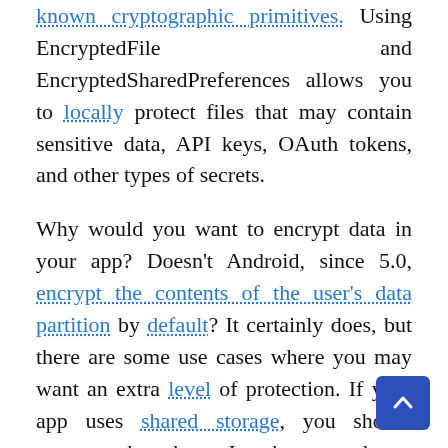known cryptographic primitives. Using EncryptedFile and EncryptedSharedPreferences allows you to locally protect files that may contain sensitive data, API keys, OAuth tokens, and other types of secrets.

Why would you want to encrypt data in your app? Doesn't Android, since 5.0, encrypt the contents of the user's data partition by default? It certainly does, but there are some use cases where you may want an extra level of protection. If your app uses shared storage, you should encrypt the data. In the app home directory, your app should encrypt data if your app handles sensitive information including but not limited to personally